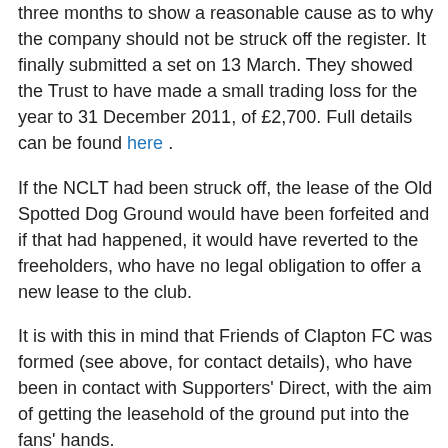three months to show a reasonable cause as to why the company should not be struck off the register. It finally submitted a set on 13 March. They showed the Trust to have made a small trading loss for the year to 31 December 2011, of £2,700. Full details can be found here .
If the NCLT had been struck off, the lease of the Old Spotted Dog Ground would have been forfeited and if that had happened, it would have reverted to the freeholders, who have no legal obligation to offer a new lease to the club.
It is with this in mind that Friends of Clapton FC was formed (see above, for contact details), who have been in contact with Supporters' Direct, with the aim of getting the leasehold of the ground put into the fans' hands.
In the meantime, Clapton Football Club continues to subsist on the most threadbare of resources. The team, effectively, has to fund itself, which includes buying and washing its own kit, paying for their own match balls and travel, and it has even been suggested that players should be held responsible for their own fines.